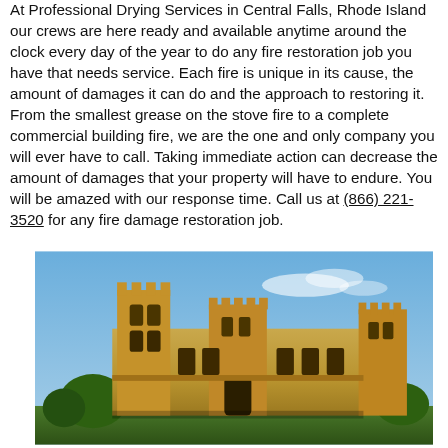At Professional Drying Services in Central Falls, Rhode Island our crews are here ready and available anytime around the clock every day of the year to do any fire restoration job you have that needs service. Each fire is unique in its cause, the amount of damages it can do and the approach to restoring it. From the smallest grease on the stove fire to a complete commercial building fire, we are the one and only company you will ever have to call. Taking immediate action can decrease the amount of damages that your property will have to endure. You will be amazed with our response time. Call us at (866) 221-3520 for any fire damage restoration job.
[Figure (photo): Exterior photo of a large historic yellow-stone building with Gothic-style towers and windows, photographed against a blue sky with trees in the foreground.]